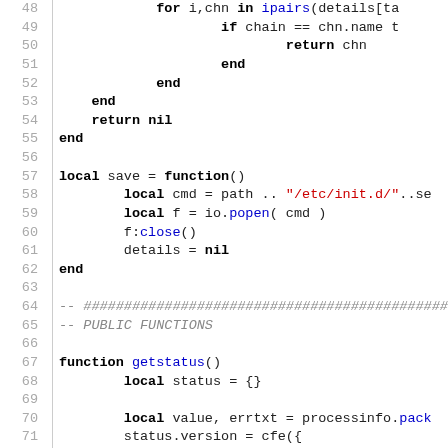[Figure (screenshot): Source code listing in Lua showing lines 48–77 with syntax highlighting. Keywords in bold black, function names and identifiers in blue, string literals in red, comments in gray italic.]